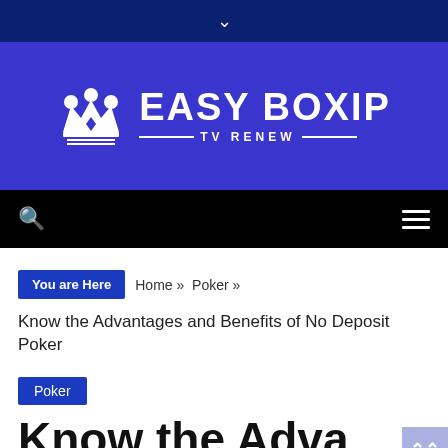[Figure (logo): Easy Boxip TV Renew website logo with crown icon on blue background]
Navigation bar with search icon and hamburger menu
You are Here  Home » Poker »  Know the Advantages and Benefits of No Deposit Poker
Know the Advantages and...